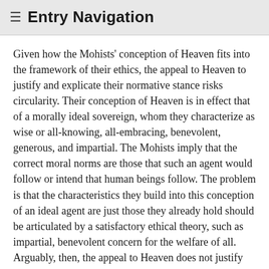≡ Entry Navigation
Given how the Mohists' conception of Heaven fits into the framework of their ethics, the appeal to Heaven to justify and explicate their normative stance risks circularity. Their conception of Heaven is in effect that of a morally ideal sovereign, whom they characterize as wise or all-knowing, all-embracing, benevolent, generous, and impartial. The Mohists imply that the correct moral norms are those that such an agent would follow or intend that human beings follow. The problem is that the characteristics they build into this conception of an ideal agent are just those they already hold should be articulated by a satisfactory ethical theory, such as impartial, benevolent concern for the welfare of all. Arguably, then, the appeal to Heaven does not justify Mohist ethics so much as simply illustrate or articulate it.
A potential problem with the appeal to Heaven arises from the way the Mohists' concept of a fa (model) runs together the notions of a criterion of righteousness, a practical guideline, and a role model. The idea of